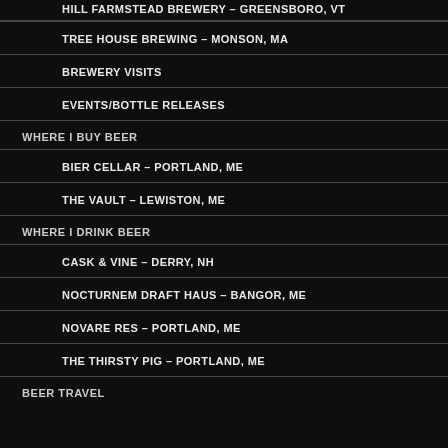HILL FARMSTEAD BREWERY – GREENSBORO, VT
TREE HOUSE BREWING – MONSON, MA
BREWERY VISITS
EVENTS/BOTTLE RELEASES
WHERE I BUY BEER
BIER CELLAR – PORTLAND, ME
THE VAULT – LEWISTON, ME
WHERE I DRINK BEER
CASK & VINE – DERRY, NH
NOCTURNEM DRAFT HAUS – BANGOR, ME
NOVARE RES – PORTLAND, ME
THE THIRSTY PIG – PORTLAND, ME
BEER TRAVEL